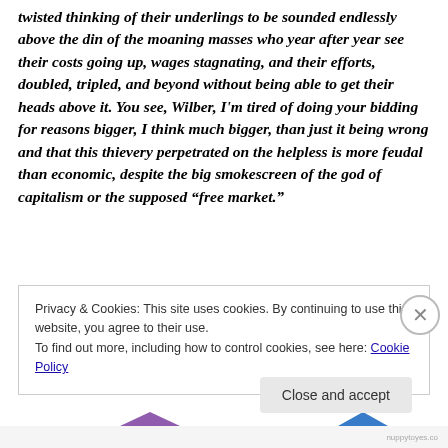twisted thinking of their underlings to be sounded endlessly above the din of the moaning masses who year after year see their costs going up, wages stagnating, and their efforts, doubled, tripled, and beyond without being able to get their heads above it. You see, Wilber, I'm tired of doing your bidding for reasons bigger, I think much bigger, than just it being wrong and that this thievery perpetrated on the helpless is more feudal than economic, despite the big smokescreen of the god of capitalism or the supposed “free market.”
Privacy & Cookies: This site uses cookies. By continuing to use this website, you agree to their use.
To find out more, including how to control cookies, see here: Cookie Policy
Close and accept
nuppytoyes.co